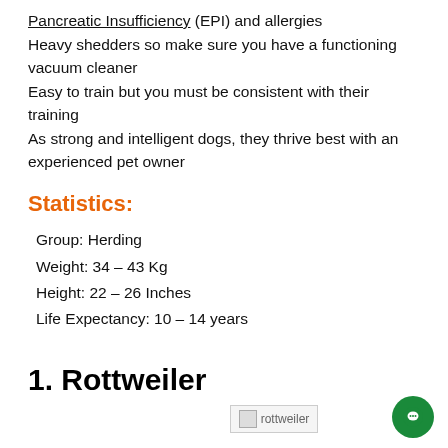Pancreatic Insufficiency (EPI) and allergies
Heavy shedders so make sure you have a functioning vacuum cleaner
Easy to train but you must be consistent with their training
As strong and intelligent dogs, they thrive best with an experienced pet owner
Statistics:
Group: Herding
Weight: 34 – 43 Kg
Height: 22 – 26 Inches
Life Expectancy: 10 – 14 years
1. Rottweiler
[Figure (photo): Image of a rottweiler dog (broken/placeholder image shown)]